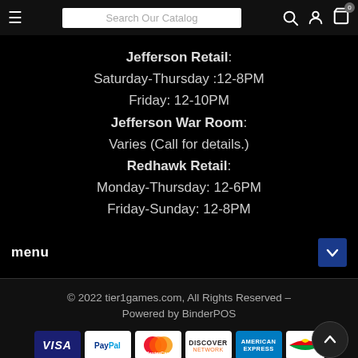Search Our Catalog
Jefferson Retail: Saturday-Thursday :12-8PM Friday: 12-10PM Jefferson War Room: Varies (Call for details.) Redhawk Retail: Monday-Thursday: 12-6PM Friday-Sunday: 12-8PM
menu
© 2022 tier1games.com, All Rights Reserved – Powered by BinderPOS
[Figure (other): Payment method icons: VISA, PayPal, MasterCard, Discover, American Express, and another card brand]